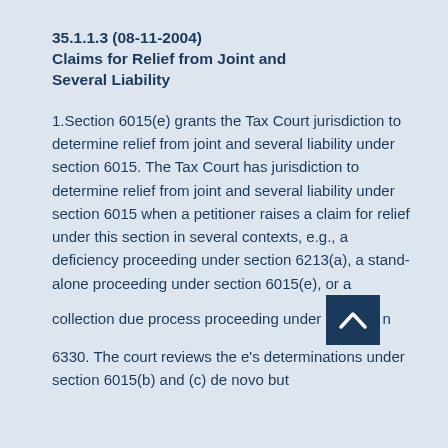35.1.1.3 (08-11-2004)
Claims for Relief from Joint and Several Liability
1.Section 6015(e) grants the Tax Court jurisdiction to determine relief from joint and several liability under section 6015. The Tax Court has jurisdiction to determine relief from joint and several liability under section 6015 when a petitioner raises a claim for relief under this section in several contexts, e.g., a deficiency proceeding under section 6213(a), a stand-alone proceeding under section 6015(e), or a collection due process proceeding under [section] 6330. The court reviews the [IRS]e's determinations under section 6015(b) and (c) de novo but